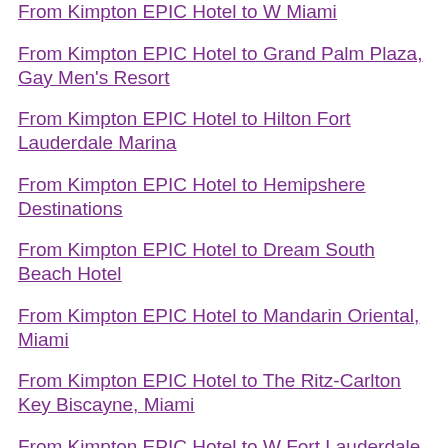From Kimpton EPIC Hotel to W Miami
From Kimpton EPIC Hotel to Grand Palm Plaza, Gay Men's Resort
From Kimpton EPIC Hotel to Hilton Fort Lauderdale Marina
From Kimpton EPIC Hotel to Hemipshere Destinations
From Kimpton EPIC Hotel to Dream South Beach Hotel
From Kimpton EPIC Hotel to Mandarin Oriental, Miami
From Kimpton EPIC Hotel to The Ritz-Carlton Key Biscayne, Miami
From Kimpton EPIC Hotel to W Fort Lauderdale
From Kimpton EPIC Hotel to Delta Sky Club
From Kimpton EPIC Hotel to Grand Beach Hotel
From Kimpton EPIC Hotel to Royal Palm South Beach